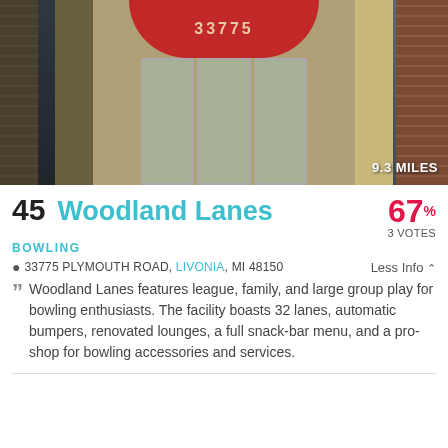[Figure (photo): Exterior photo of Woodland Lanes bowling alley showing entrance with red circular awning over the address 33775, glass doors, tan columns, and brick facade. '9.3 MILES' badge in lower right corner.]
45 Woodland Lanes
67% 3 VOTES
BOWLING
33775 PLYMOUTH ROAD, LIVONIA, MI 48150   Less Info
Woodland Lanes features league, family, and large group play for bowling enthusiasts. The facility boasts 32 lanes, automatic bumpers, renovated lounges, a full snack-bar menu, and a pro-shop for bowling accessories and services.